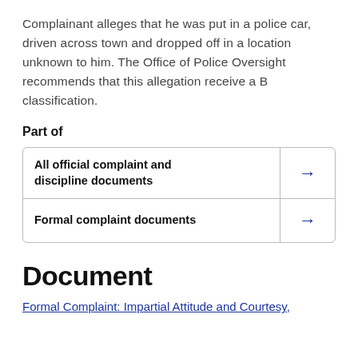Complainant alleges that he was put in a police car, driven across town and dropped off in a location unknown to him. The Office of Police Oversight recommends that this allegation receive a B classification.
Part of
|  |  |
| --- | --- |
| All official complaint and discipline documents | → |
| Formal complaint documents | → |
Document
Formal Complaint: Impartial Attitude and Courtesy,